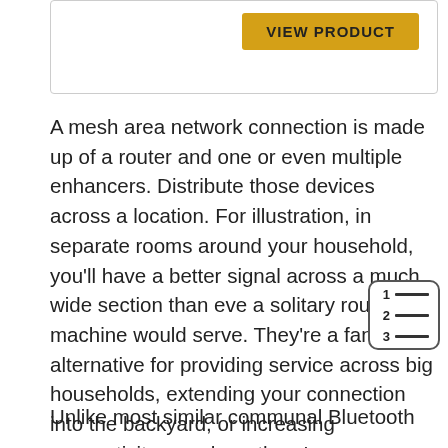[Figure (other): Product box with VIEW PRODUCT button]
A mesh area network connection is made up of a router and one or even multiple enhancers. Distribute those devices across a location. For illustration, in separate rooms around your household, you’ll have a better signal across a much wide section than even a solitary router machine would serve. They’re a fantastic alternative for providing service across big households, extending your connection into the backyard, or increasing connectivity anywhere there’s a poor strength or inactive regions.
[Figure (other): Table of contents icon with numbered list lines]
Unlike most similar communal Bluetooth